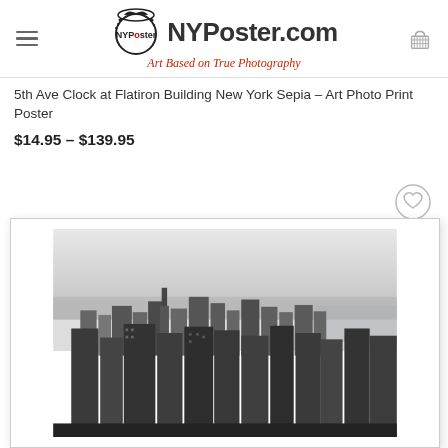NYPoster.com – Art Based on True Photography
5th Ave Clock at Flatiron Building New York Sepia – Art Photo Print Poster
$14.95 – $139.95
[Figure (photo): Black and white aerial photograph of the New York City skyline showing dense skyscrapers viewed from above, looking downtown Manhattan, with the East River visible in the background and a wide hazy horizon.]